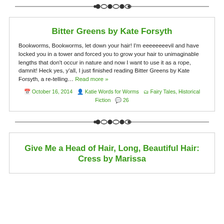[Figure (other): Decorative divider with chain/diamond ornament pattern]
Bitter Greens by Kate Forsyth
Bookworms, Bookworms, let down your hair! I'm eeeeeeeevil and have locked you in a tower and forced you to grow your hair to unimaginable lengths that don't occur in nature and now I want to use it as a rope, damnit! Heck yes, y'all, I just finished reading Bitter Greens by Kate Forsyth, a re-telling… Read more »
October 16, 2014   Katie Words for Worms   Fairy Tales, Historical Fiction   26
[Figure (other): Decorative divider with chain/diamond ornament pattern]
Give Me a Head of Hair, Long, Beautiful Hair: Cress by Marissa Meyer